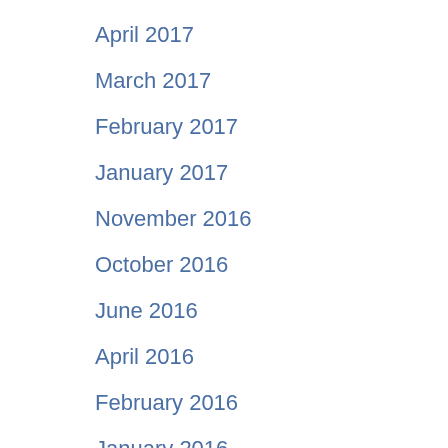April 2017
March 2017
February 2017
January 2017
November 2016
October 2016
June 2016
April 2016
February 2016
January 2016
December 2015
November 2015